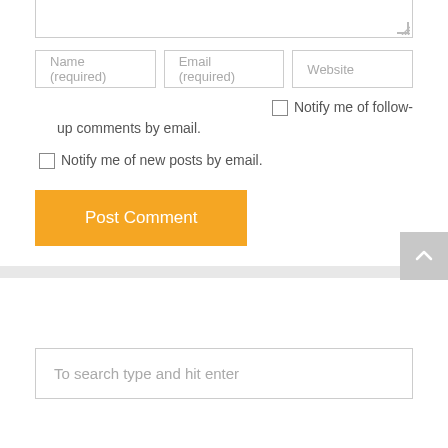[Figure (screenshot): Textarea input box (partial, top portion clipped) with resize handle at bottom-right]
Name (required)   Email (required)   Website
Notify me of follow-up comments by email.
Notify me of new posts by email.
Post Comment
To search type and hit enter